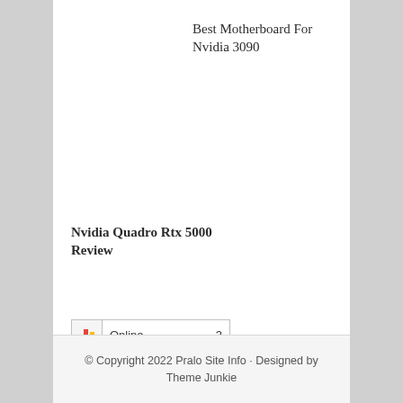Best Motherboard For Nvidia 3090
Nvidia Quadro Rtx 5000 Review
[Figure (other): Widget showing 'Online 3' with colorful bar-chart icon]
© Copyright 2022 Pralo Site Info · Designed by Theme Junkie